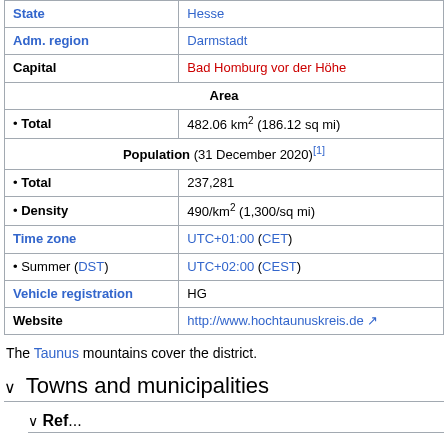| State | Hesse |
| Adm. region | Darmstadt |
| Capital | Bad Homburg vor der Höhe |
| Area |  |
| • Total | 482.06 km² (186.12 sq mi) |
| Population (31 December 2020)[1] |  |
| • Total | 237,281 |
| • Density | 490/km² (1,300/sq mi) |
| Time zone | UTC+01:00 (CET) |
| • Summer (DST) | UTC+02:00 (CEST) |
| Vehicle registration | HG |
| Website | http://www.hochtaunuskreis.de |
The Taunus mountains cover the district.
Towns and municipalities
Ref...